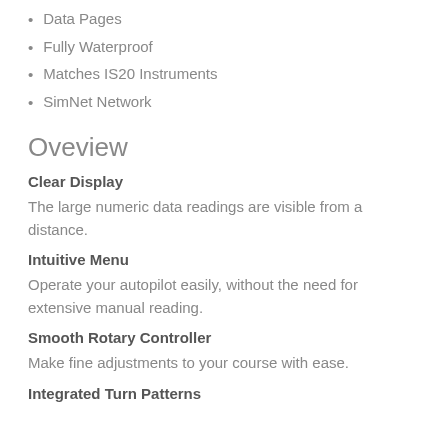Data Pages
Fully Waterproof
Matches IS20 Instruments
SimNet Network
Oveview
Clear Display
The large numeric data readings are visible from a distance.
Intuitive Menu
Operate your autopilot easily, without the need for extensive manual reading.
Smooth Rotary Controller
Make fine adjustments to your course with ease.
Integrated Turn Patterns